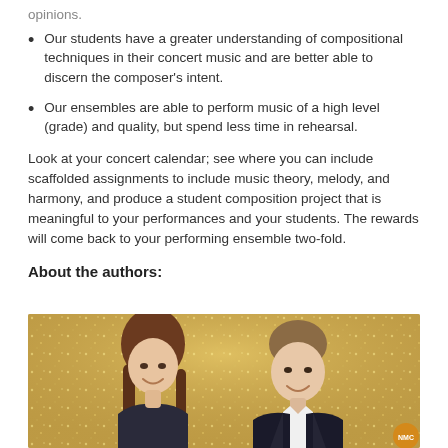opinions.
Our students have a greater understanding of compositional techniques in their concert music and are better able to discern the composer's intent.
Our ensembles are able to perform music of a high level (grade) and quality, but spend less time in rehearsal.
Look at your concert calendar; see where you can include scaffolded assignments to include music theory, melody, and harmony, and produce a student composition project that is meaningful to your performances and your students. The rewards will come back to your performing ensemble two-fold.
About the authors:
[Figure (photo): Two authors (a woman with long brown hair and a man in a dark suit) smiling in front of a gold sequined backdrop]